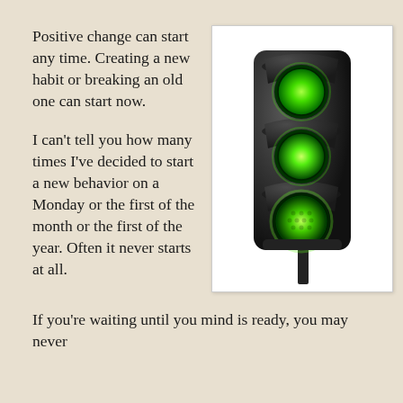Positive change can start any time. Creating a new habit or breaking an old one can start now.
[Figure (photo): A traffic light with all three lights glowing green, shown against a white background in a white-bordered box.]
I can’t tell you how many times I’ve decided to start a new behavior on a Monday or the first of the month or the first of the year. Often it never starts at all.
If you’re waiting until you mind is ready, you may never